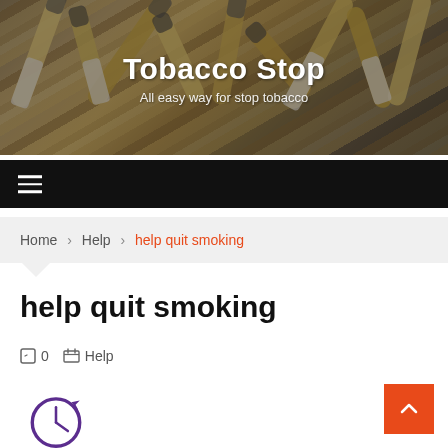[Figure (photo): Header banner with cigarette butts in an ashtray, muted brown and grey tones]
Tobacco Stop
All easy way for stop tobacco
≡ (hamburger menu navigation bar)
Home > Help > help quit smoking
help quit smoking
0   Help
[Figure (illustration): Clock/time icon in purple, partially visible at bottom of page]
^ (back to top button, orange)